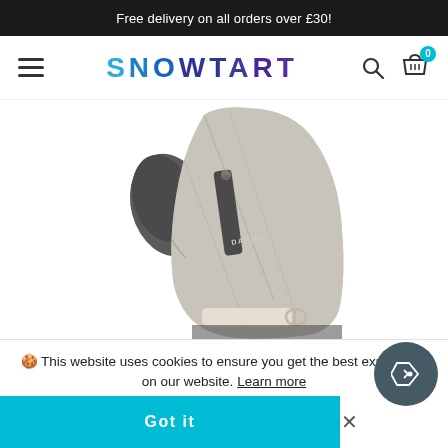Free delivery on all orders over £30!
[Figure (logo): Snowtart logo with hamburger menu, search icon, and basket with 0 items]
[Figure (photo): Close-up of a grey heathered ski/snow mitten with zipper pocket, black thumb area, and cream wrist strap. Brand label visible on zipper. White background.]
🍪 This website uses cookies to ensure you get the best experience on our website. Learn more
Got it